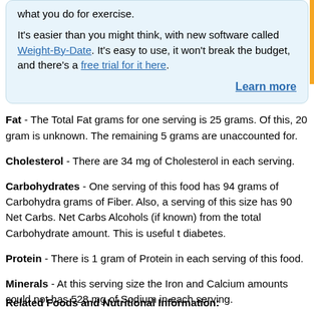what you do for exercise.

It's easier than you might think, with new software called Weight-By-Date. It's easy to use, it won't break the budget, and there's a free trial for it here.

Learn more
Fat - The Total Fat grams for one serving is 25 grams. Of this, 20 gram is unknown. The remaining 5 grams are unaccounted for.
Cholesterol - There are 34 mg of Cholesterol in each serving.
Carbohydrates - One serving of this food has 94 grams of Carbohydra grams of Fiber. Also, a serving of this size has 90 Net Carbs. Net Carbs Alcohols (if known) from the total Carbohydrate amount. This is useful t diabetes.
Protein - There is 1 gram of Protein in each serving of this food.
Minerals - At this serving size the Iron and Calcium amounts could not has 528 mg of Sodium in each serving.
Vitamins - The amounts of Vitamin A and Vitamin C are unknown for th
Related Foods and Nutritional Information: